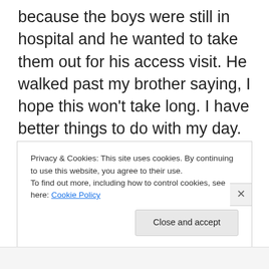because the boys were still in hospital and he wanted to take them out for his access visit.  He walked past my brother saying, I hope this won't take long. I have better things to do with my day.  Not long after he had me arrested for making threats against him (I hadn't seen him).  He took me to court because I refused to put his name on her headstone (of which he paid for nothing).  His behaviour went on and on.  He was found to be responsible for her death but none of his threats or previous convictions were allowed to be brought into the Coroner's Court.  He was charged with dangerous driving
Privacy & Cookies: This site uses cookies. By continuing to use this website, you agree to their use.
To find out more, including how to control cookies, see here: Cookie Policy
Close and accept